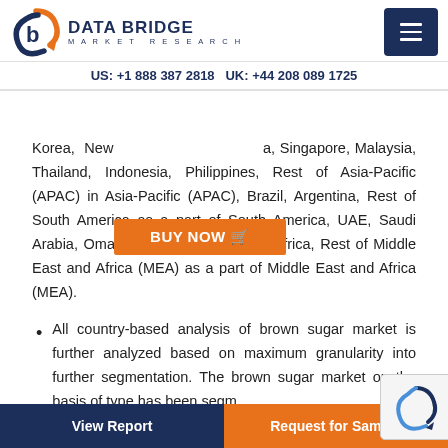DATA BRIDGE MARKET RESEARCH | US: +1 888 387 2818 UK: +44 208 089 1725
Korea, New [partially obscured]a, Singapore, Malaysia, Thailand, Indonesia, Philippines, Rest of Asia-Pacific (APAC) in Asia-Pacific (APAC), Brazil, Argentina, Rest of South America as a part of South America, UAE, Saudi Arabia, Oman, Qatar, Kuwait, South Africa, Rest of Middle East and Africa (MEA) as a part of Middle East and Africa (MEA).
All country-based analysis of brown sugar market is further analyzed based on maximum granularity into further segmentation. The brown sugar market on the basis of type has been segm[ented]...
View Report | Request for Sample